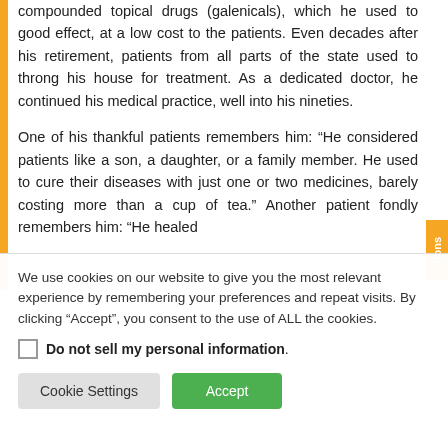compounded topical drugs (galenicals), which he used to good effect, at a low cost to the patients. Even decades after his retirement, patients from all parts of the state used to throng his house for treatment. As a dedicated doctor, he continued his medical practice, well into his nineties.
One of his thankful patients remembers him: “He considered patients like a son, a daughter, or a family member. He used to cure their diseases with just one or two medicines, barely costing more than a cup of tea.” Another patient fondly remembers him: “He healed
We use cookies on our website to give you the most relevant experience by remembering your preferences and repeat visits. By clicking “Accept”, you consent to the use of ALL the cookies.
Do not sell my personal information